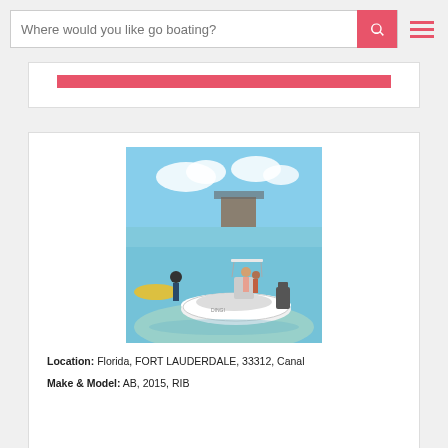Where would you like go boating?
[Figure (photo): A white inflatable RIB boat in shallow turquoise water with people around it, sunny day at a coastal sandbar location with other boats in the background.]
Location: Florida, FORT LAUDERDALE, 33312, Canal
Make & Model: AB, 2015, RIB